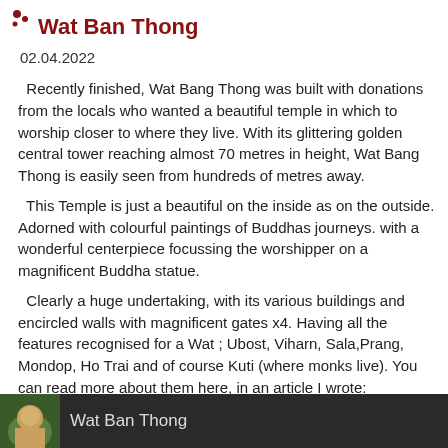Wat Ban Thong
02.04.2022
Recently finished, Wat Bang Thong was built with donations from the locals who wanted a beautiful temple in which to worship closer to where they live. With its glittering golden central tower reaching almost 70 metres in height, Wat Bang Thong is easily seen from hundreds of metres away.
This Temple is just a beautiful on the inside as on the outside. Adorned with colourful paintings of Buddhas journeys. with a wonderful centerpiece focussing the worshipper on a magnificent Buddha statue.
Clearly a huge undertaking, with its various buildings and encircled walls with magnificent gates x4. Having all the features recognised for a Wat ; Ubost, Viharn, Sala,Prang, Mondop, Ho Trai and of course Kuti (where monks live). You can read more about them here, in an article I wrote: https://true-travels.com/2019/01/27/whats-in-a-wat/
Along with the beautiful grounds this was a great place to visit. I hope you enjoy it too!
Music free under creative commons licence from youtube music library
Title: Mer-Ka-Ba by Jesse Gallagher
[Figure (photo): Video thumbnail showing a person with 'Wat Ban Thong' text overlay on dark background]